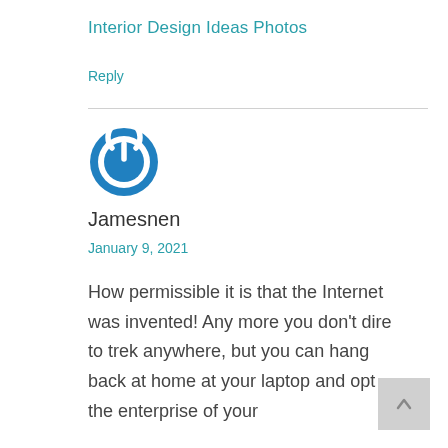Interior Design Ideas Photos
Reply
[Figure (illustration): Blue circular power button icon used as user avatar]
Jamesnen
January 9, 2021
How permissible it is that the Internet was invented! Any more you don’t dire to trek anywhere, but you can hang back at home at your laptop and opt the enterprise of your